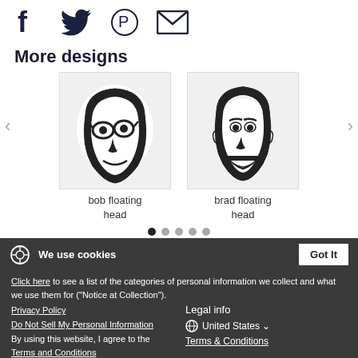[Figure (illustration): Social media share icons: Facebook, Twitter, Pinterest, Email]
More designs
[Figure (illustration): Stylized black and white portrait of a man with glasses - bob floating head]
bob floating head
[Figure (illustration): Stylized black and white portrait of a smiling man - brad floating head]
brad floating head
We use cookies
Click here to see a list of the categories of personal information we collect and what we use them for ("Notice at Collection").
Legal info
Privacy Policy
Do Not Sell My Personal Information
By using this website, I agree to the Terms and Conditions
United States
Copyright information
Terms & Conditions